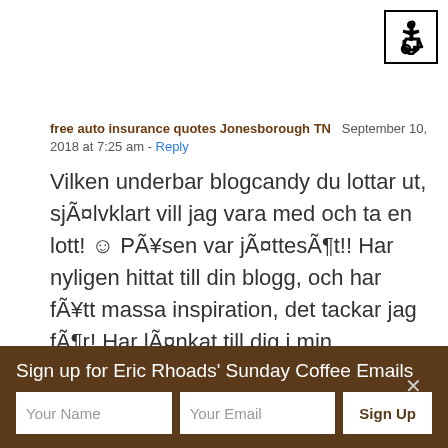[Figure (other): Wheelchair accessibility icon in a bordered box]
free auto insurance quotes Jonesborough TN  September 10, 2018 at 7:25 am - Reply
Vilken underbar blogcandy du lottar ut, sjÃ¤lvklart vill jag vara med och ta en lott! ☺ PÃ¥sen var jÃ¤ttesÃ¶t!! Har nyligen hittat till din blogg, och har fÃ¥tt massa inspiration, det tackar jag fÃ¶r! Har lÃ¤nkat till dig i min sidebar.Ha det fint! / Millan
Sign up for Eric Rhoads' Sunday Coffee Emails
Your Name
Your Email
Sign Up